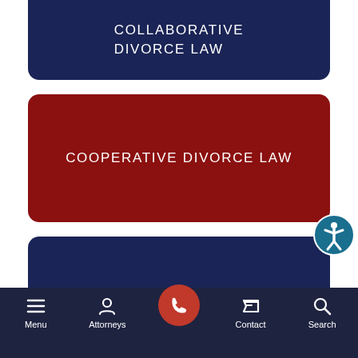[Figure (screenshot): Mobile website navigation card with dark navy background showing 'COLLABORATIVE DIVORCE LAW' text in white uppercase letters (partial/cropped at top)]
[Figure (screenshot): Mobile website navigation card with dark red background showing 'COOPERATIVE DIVORCE LAW' text in white uppercase letters]
[Figure (screenshot): Mobile website navigation card with dark navy background showing 'INTRODUCTION TO MEDIATION' text in white uppercase letters]
[Figure (screenshot): Partial mobile website navigation card with dark red background at bottom of visible content area]
Menu  Attorneys  [phone]  Contact  Search